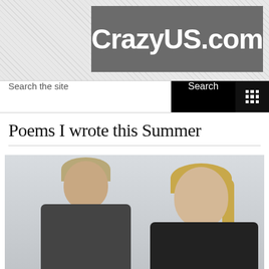CrazyUS.com
Search the site
Poems I wrote this Summer
[Figure (photo): Two people posing for a photo outdoors against a light gray overcast sky. A man with short light hair wearing a dark gray/black long-sleeve shirt stands on the left in the background. A woman with blonde hair pulled back, wearing dark clothing, is in the foreground on the right, closer to the camera.]